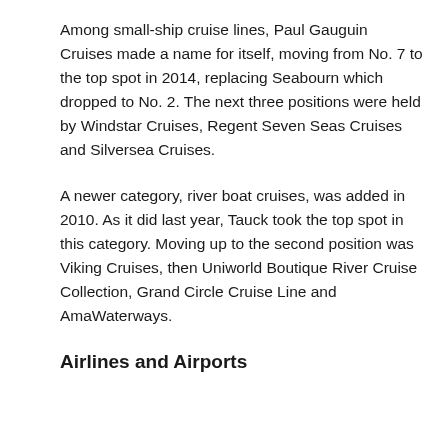Among small-ship cruise lines, Paul Gauguin Cruises made a name for itself, moving from No. 7 to the top spot in 2014, replacing Seabourn which dropped to No. 2. The next three positions were held by Windstar Cruises, Regent Seven Seas Cruises and Silversea Cruises.
A newer category, river boat cruises, was added in 2010. As it did last year, Tauck took the top spot in this category. Moving up to the second position was Viking Cruises, then Uniworld Boutique River Cruise Collection, Grand Circle Cruise Line and AmaWaterways.
Airlines and Airports